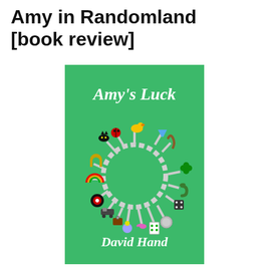Amy in Randomland [book review]
[Figure (illustration): Book cover of 'Amy's Luck' by David Hand. Green background with italic white title 'Amy's Luck' at top, author name 'David Hand' in italic white at bottom. Center shows a circular chain bracelet with various luck-related charms (black cat, rubber duck, ladybug, horseshoe, rainbow, roulette wheel, train, suitcase, flower, hummingbird, playing card, coin, dice, snake, four-leaf clover, wishbone, magnet, blue funnel/hat, dog) branching out from the chain links via grey connector paths.]